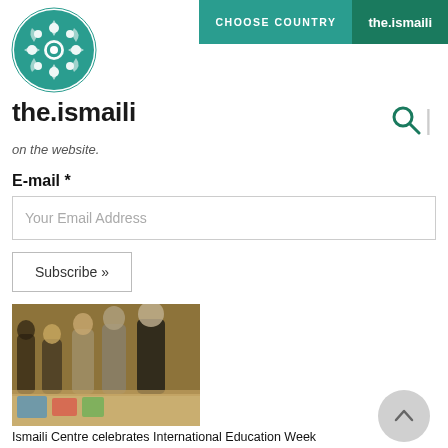[Figure (logo): the.ismaili circular ornamental logo in teal/green]
CHOOSE COUNTRY   the.ismaili
the.ismaili
on the website.
E-mail *
Your Email Address
Subscribe »
[Figure (photo): People at an event table, viewing artwork or publications, in a warmly lit room with a decorative rug on the wall]
Ismaili Centre celebrates International Education Week
[Figure (photo): Man in dark suit speaking at a podium with a university logo visible in the background]